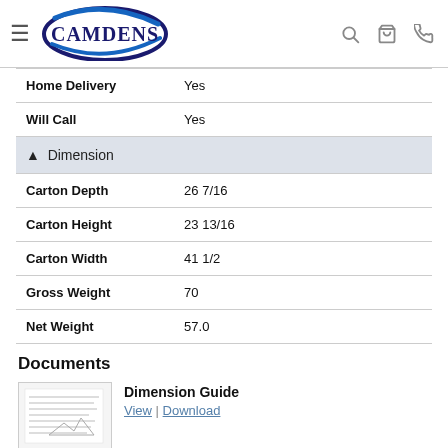[Figure (logo): Camdens logo with blue oval and swoosh]
| Home Delivery | Yes |
| Will Call | Yes |
| ▲ Dimension |  |
| Carton Depth | 26 7/16 |
| Carton Height | 23 13/16 |
| Carton Width | 41 1/2 |
| Gross Weight | 70 |
| Net Weight | 57.0 |
Documents
[Figure (screenshot): Thumbnail of Dimension Guide document]
Dimension Guide
View | Download